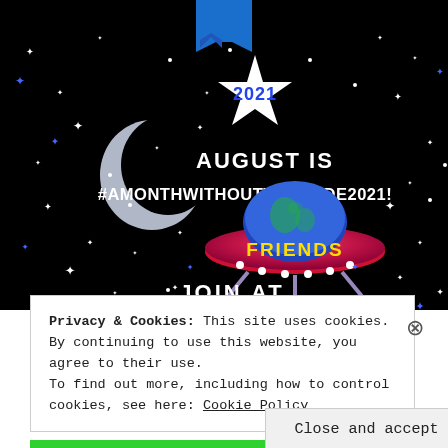[Figure (illustration): Space-themed promotional banner on black background. Features a crescent moon, scattered white and blue stars/sparkles, a white star with '2021' in blue text, blue banner/ribbon at top center, text 'AUGUST IS #AMONTHWITHOUTTHECODE2021!' in white bold font, a flying saucer UFO in red/purple with blue dome top and text 'FRIENDS' in yellow, and 'JOIN AT' in white bold text at bottom with blue underline.]
Privacy & Cookies: This site uses cookies. By continuing to use this website, you agree to their use.
To find out more, including how to control cookies, see here: Cookie Policy
Close and accept